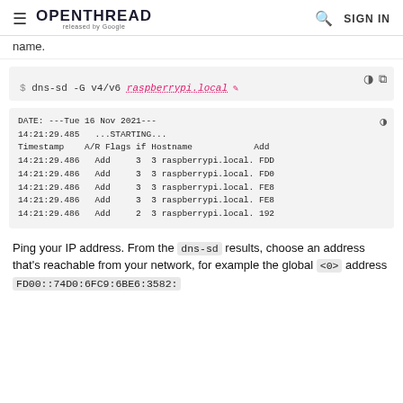OPENTHREAD released by Google — SIGN IN
name.
[Figure (screenshot): Code block showing: $ dns-sd -G v4/v6 raspberrypi.local with edit/copy icons]
[Figure (screenshot): Terminal output block showing DNS-SD query results with DATE, timestamps, and raspberrypi.local entries]
Ping your IP address. From the dns-sd results, choose an address that's reachable from your network, for example the global <0> address FD00::74D0:6FC9:6BE6:3582: